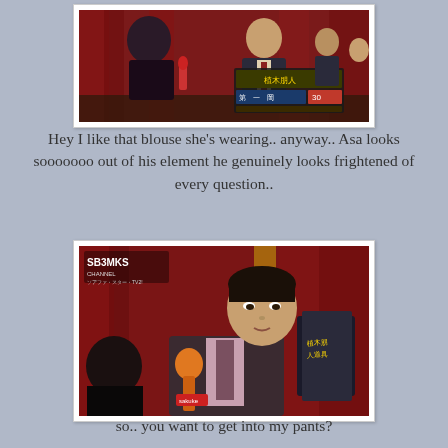[Figure (photo): Screenshot of a TV interview scene with a man in a suit being interviewed by a woman, red curtain background, Japanese text overlay on screen]
Hey I like that blouse she's wearing.. anyway.. Asa looks sooooooo out of his element he genuinely looks frightened of every question..
[Figure (photo): Screenshot of a man in a dark suit being interviewed with an orange microphone labeled 'sakuke', red curtain background, someone holding a dark jacket in background]
so.. you want to get into my pants?